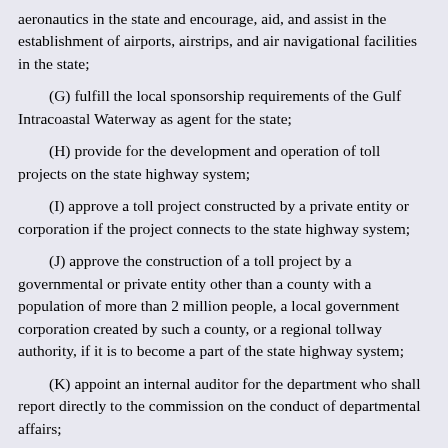aeronautics in the state and encourage, aid, and assist in the establishment of airports, airstrips, and air navigational facilities in the state;
(G) fulfill the local sponsorship requirements of the Gulf Intracoastal Waterway as agent for the state;
(H) provide for the development and operation of toll projects on the state highway system;
(I) approve a toll project constructed by a private entity or corporation if the project connects to the state highway system;
(J) approve the construction of a toll project by a governmental or private entity other than a county with a population of more than 2 million people, a local government corporation created by such a county, or a regional tollway authority, if it is to become a part of the state highway system;
(K) appoint an internal auditor for the department who shall report directly to the commission on the conduct of departmental affairs;
(L) adopt rules for the operation of the department;
(M) divide the department into districts to accomplish the